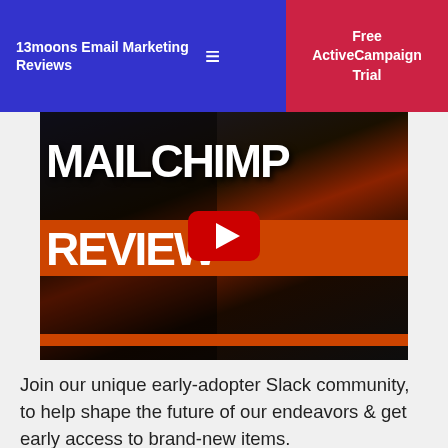13moons Email Marketing Reviews
[Figure (screenshot): YouTube video thumbnail for a Mailchimp Review video. Shows text 'MAILCHIMP REVIEW' in large white bold font over a dark and orange background, with a man in a red hoodie on the right side. A red YouTube play button is centered on the thumbnail.]
Join our unique early-adopter Slack community, to help shape the future of our endeavors & get early access to brand-new items.